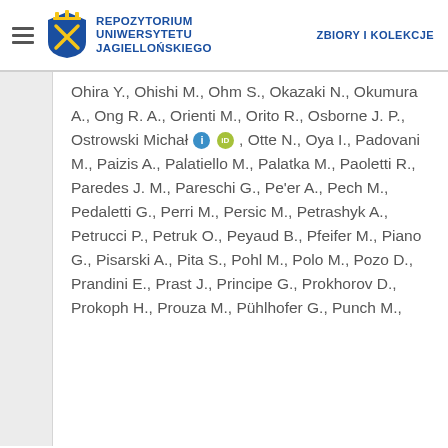REPOZYTORIUM UNIWERSYTETU JAGIELLOŃSKIEGO | ZBIORY I KOLEKCJE
Ohira Y., Ohishi M., Ohm S., Okazaki N., Okumura A., Ong R. A., Orienti M., Orito R., Osborne J. P., Ostrowski Michał [info] [orcid], Otte N., Oya I., Padovani M., Paizis A., Palatiello M., Palatka M., Paoletti R., Paredes J. M., Pareschi G., Pe'er A., Pech M., Pedaletti G., Perri M., Persic M., Petrashyk A., Petrucci P., Petruk O., Peyaud B., Pfeifer M., Piano G., Pisarski A., Pita S., Pohl M., Polo M., Pozo D., Prandini E., Prast J., Principe G., Prokhorov D., Prokoph H., Prouza M., Pühlhofer G., Punch M.,